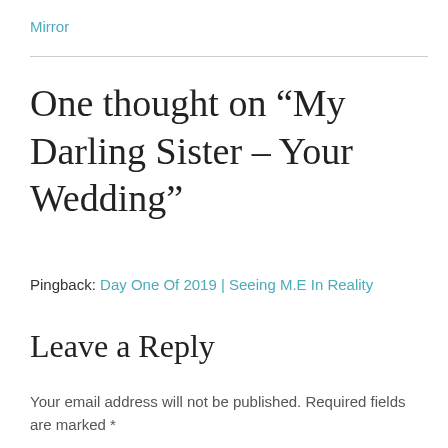Mirror
One thought on “My Darling Sister – Your Wedding”
Pingback: Day One Of 2019 | Seeing M.E In Reality
Leave a Reply
Your email address will not be published. Required fields are marked *